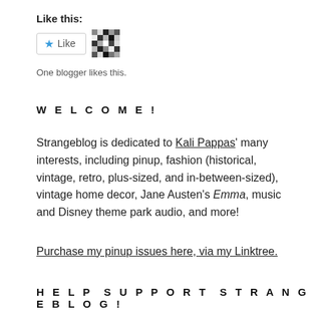Like this:
[Figure (other): Like button widget with a blue star icon and a pixelated avatar thumbnail]
One blogger likes this.
WELCOME!
Strangeblog is dedicated to Kali Pappas' many interests, including pinup, fashion (historical, vintage, retro, plus-sized, and in-between-sized), vintage home decor, Jane Austen's Emma, music and Disney theme park audio, and more!
Purchase my pinup issues here, via my Linktree.
HELP SUPPORT STRANGEBLOG!